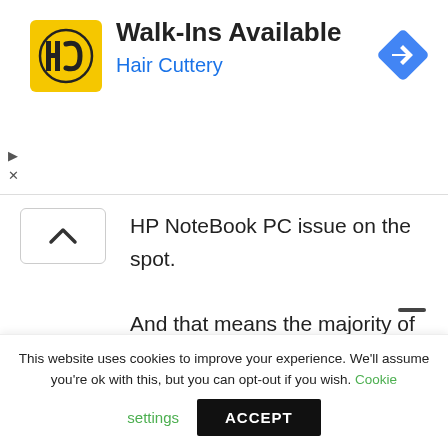[Figure (screenshot): Hair Cuttery advertisement banner with yellow HC logo, 'Walk-Ins Available' heading, blue navigation icon on right, and play/close icons on left]
HP NoteBook PC issue on the spot.

And that means the majority of repairs

completed for a fixed price that's hard

to beat.
This website uses cookies to improve your experience. We'll assume you're ok with this, but you can opt-out if you wish. Cookie settings ACCEPT